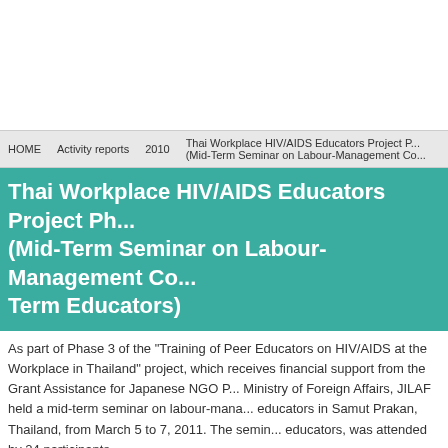HOME   Activity reports   2010   Thai Workplace HIV/AIDS Educators Project P... (Mid-Term Seminar on Labour-Management Co...
Thai Workplace HIV/AIDS Educators Project Ph... (Mid-Term Seminar on Labour-Management Co... Term Educators)
As part of Phase 3 of the "Training of Peer Educators on HIV/AIDS at the Workplace in Thailand" project, which receives financial support from the Grant Assistance for Japanese NGO P... Ministry of Foreign Affairs, JILAF held a mid-term seminar on labour-mana... educators in Samut Prakan, Thailand, from March 5 to 7, 2011. The semin... educators, was attended by 24 participants.
On behalf of the organizers, JILAF Deputy Secretary Kenichi Kumatani ad... "HIV/AIDS is one of the most serious problems facing Thailand. I want yo...